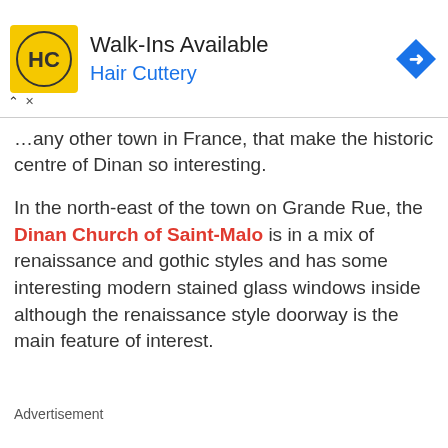[Figure (other): Advertisement banner for Hair Cuttery with yellow HC logo, 'Walk-Ins Available' heading, 'Hair Cuttery' brand name in blue, and a blue diamond-shaped direction arrow icon on the right.]
…any other town in France, that make the historic centre of Dinan so interesting.
In the north-east of the town on Grande Rue, the Dinan Church of Saint-Malo is in a mix of renaissance and gothic styles and has some interesting modern stained glass windows inside although the renaissance style doorway is the main feature of interest.
Advertisement